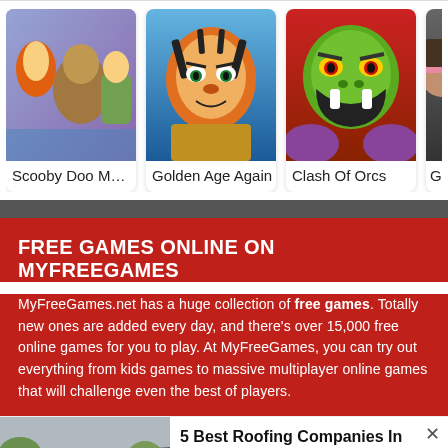[Figure (screenshot): Game cards row showing Scooby Doo Mat..., Golden Age Again, Clash Of Orcs, and a partially visible fourth game]
FREE GAMES ONLINE ON MYFREEGAMES
MyFreeGames.net has a huge collection of free games. Totally new ones are added every day, and there's over 15,000 free online games for you to play. At MyFreeGames, you can try out everything from kids games to massive multiplayer online games that will challenge even the best of players.
[Figure (photo): Advertisement: 5 Best Roofing Companies In Ashburn - photo of damaged roof with broken shingles]
5 Best Roofing Companies In Ashburn
Roof Restoration | Sponsored ... | Sponsored